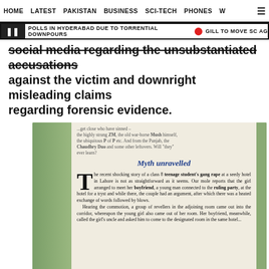HOME   LATEST   PAKISTAN   BUSINESS   SCI-TECH   PHONES   W ☰
❚  POLLS IN HYDERABAD DUE TO TORRENTIAL DOWNPOURS  🔴  GILL TO MOVE SC AG
social media regarding the unsubstantiated accusations against the victim and downright misleading claims regarding forensic evidence.
[Figure (photo): Photograph of a newspaper clipping showing an article titled 'Myth unravelled'. The clipping reads: the highly strung ZM, the old war-horse Mush himself, the ubiquitous P of P etc. And from the Punjab, the Chaudhry Duo and some other leftovers. Will 'they' ever learn? The article body begins with a drop cap T: 'he recent shocking story of a class 8 teenage student's gang rape at a seedy hotel in Lahore is not as straightforward as it seems. Our mole reports that the girl arranged to meet her boyfriend, a young man connected to the ruling party, at the hotel for a tryst and while there, the couple had an argument, after which there was a heated exchange of words followed by blows. Hearing the commotion, a group of revellers in the adjoining room came out into the corridor, whereupon the young girl also came out of her room. Her boyfriend, meanwhile, called the girl's uncle and asked him to come to the designated room in the same hotel...']